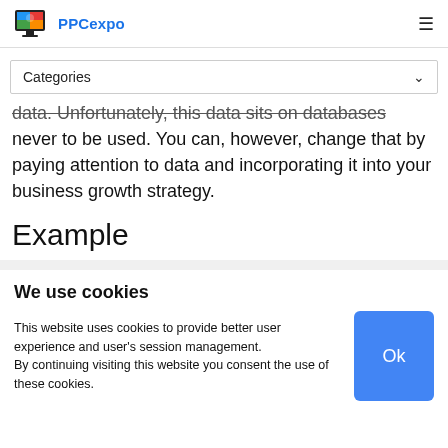PPCexpo
Categories
data. Unfortunately, this data sits on databases never to be used. You can, however, change that by paying attention to data and incorporating it into your business growth strategy.
Example
We use cookies
This website uses cookies to provide better user experience and user's session management. By continuing visiting this website you consent the use of these cookies.